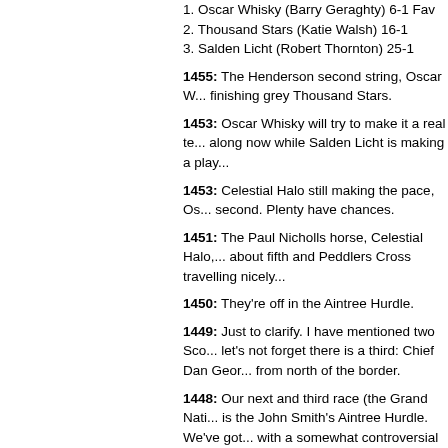1. Oscar Whisky (Barry Geraghty) 6-1 Fav
2. Thousand Stars (Katie Walsh) 16-1
3. Salden Licht (Robert Thornton) 25-1
1455: The Henderson second string, Oscar W... finishing grey Thousand Stars.
1453: Oscar Whisky will try to make it a real te... along now while Salden Licht is making a play...
1453: Celestial Halo still making the pace, Os... second. Plenty have chances.
1451: The Paul Nicholls horse, Celestial Halo,... about fifth and Peddlers Cross travelling nicely...
1450: They're off in the Aintree Hurdle.
1449: Just to clarify. I have mentioned two Sco... let's not forget there is a third: Chief Dan Geor... from north of the border.
1448: Our next and third race (the Grand Nati... is the John Smith's Aintree Hurdle. We've got... with a somewhat controversial history, but Ped... Ladbrokes have taken a punt of £80,000 on th...
From James, Vienna: "I'm not superstitious...